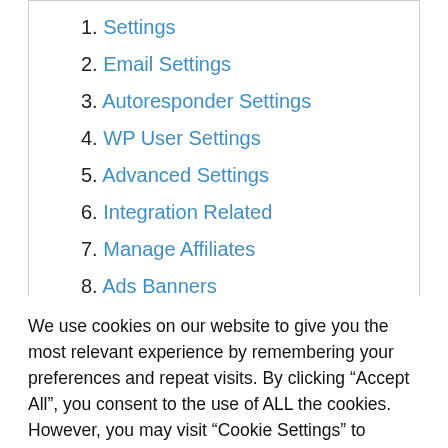1. Settings
2. Email Settings
3. Autoresponder Settings
4. WP User Settings
5. Advanced Settings
6. Integration Related
7. Manage Affiliates
8. Ads Banners
9. Manage Leads
10. Click Throughs
We use cookies on our website to give you the most relevant experience by remembering your preferences and repeat visits. By clicking “Accept All”, you consent to the use of ALL the cookies. However, you may visit "Cookie Settings" to provide a controlled consent.
Cookie Settings | Accept All